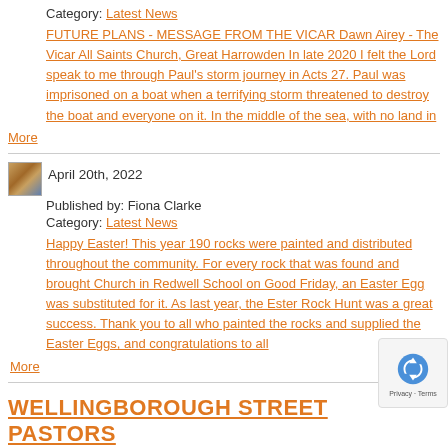Category: Latest News
FUTURE PLANS - MESSAGE FROM THE VICAR Dawn Airey - The Vicar All Saints Church, Great Harrowden In late 2020 I felt the Lord speak to me through Paul's storm journey in Acts 27.  Paul was imprisoned on a boat when a terrifying storm threatened to destroy the boat and everyone on it.  In the middle of the sea, with no land in  More
April 20th, 2022
Published by: Fiona Clarke
Category: Latest News
Happy Easter!   This year 190 rocks were painted and distributed throughout the community. For every rock that was found and brought Church in Redwell School on Good Friday, an Easter Egg was substituted for it. As last year, the Ester Rock Hunt was a great success. Thank you to all who painted the rocks and supplied the Easter Eggs, and congratulations to all  More
WELLINGBOROUGH STREET PASTORS
April 17th, 2021